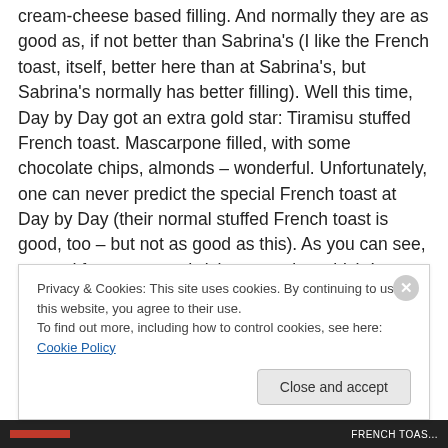cream-cheese based filling.  And normally they are as good as, if not better than Sabrina's (I like the French toast, itself, better here than at Sabrina's, but Sabrina's normally has better filling).  Well this time, Day by Day got an extra gold star: Tiramisu stuffed French toast.  Mascarpone filled, with some chocolate chips, almonds – wonderful.  Unfortunately, one can never predict the special French toast at Day by Day (their normal stuffed French toast is good, too – but not as good as this).  As you can see, g opted for some sandwich concoction which I believe she found to be quite delicious – and she ranked
Privacy & Cookies: This site uses cookies. By continuing to use this website, you agree to their use.
To find out more, including how to control cookies, see here: Cookie Policy